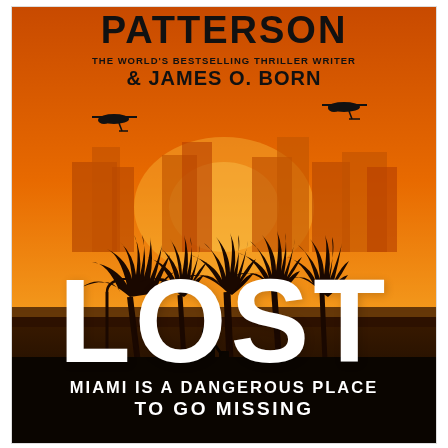[Figure (illustration): Book cover for 'LOST' by James Patterson and James O. Born. Orange/amber sunset background with silhouetted Miami skyline, palm trees, street lamps, and a lone figure walking. Two helicopter silhouettes fly against the sky. Dark foreground with black silhouettes.]
PATTERSON
THE WORLD'S BESTSELLING THRILLER WRITER
& JAMES O. BORN
LOST
MIAMI IS A DANGEROUS PLACE TO GO MISSING